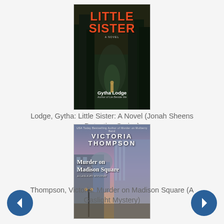[Figure (illustration): Book cover: Little Sister by Gytha Lodge. Dark forest background with tall pine trees and a small figure. Title 'LITTLE SISTER' in large red/orange bold letters. Author name 'Gytha Lodge' in white. Subtitle 'Author of Lie Beside Me'.]
Lodge, Gytha: Little Sister: A Novel (Jonah Sheens Detective Series)
[Figure (illustration): Book cover: Murder on Madison Square by Victoria Thompson. Urban scene with historic buildings and a purple/pink twilight sky. Author name 'VICTORIA THOMPSON' in large bold white letters. Title 'Murder on Madison Square' in white serif font.]
Thompson, Victoria: Murder on Madison Square (A Gaslight Mystery)